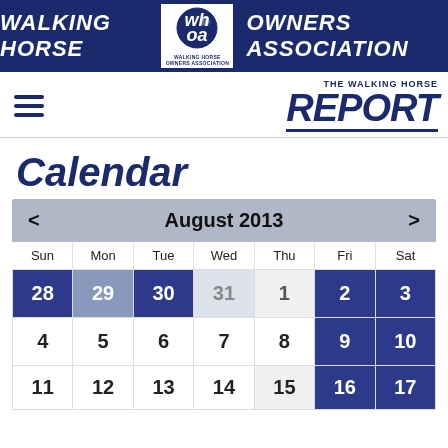[Figure (logo): Walking Horse Owners Association banner with WHOA logo]
Walking Horse Owners Association / The Walking Horse Report navigation bar
Calendar
| Sun | Mon | Tue | Wed | Thu | Fri | Sat |
| --- | --- | --- | --- | --- | --- | --- |
| 28 | 29 | 30 | 31 | 1 | 2 | 3 |
| 4 | 5 | 6 | 7 | 8 | 9 | 10 |
| 11 | 12 | 13 | 14 | 15 | 16 | 17 |